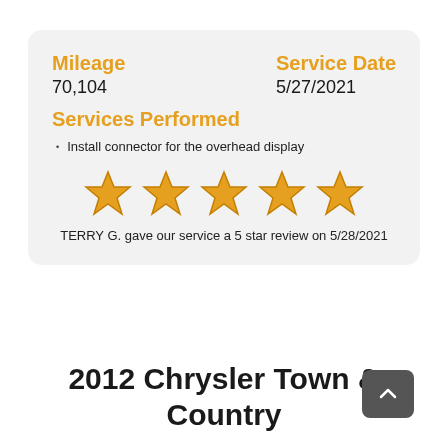Mileage
70,104
Service Date
5/27/2021
Services Performed
Install connector for the overhead display
[Figure (other): Five gold stars rating]
TERRY G. gave our service a 5 star review on 5/28/2021
2012 Chrysler Town & Country